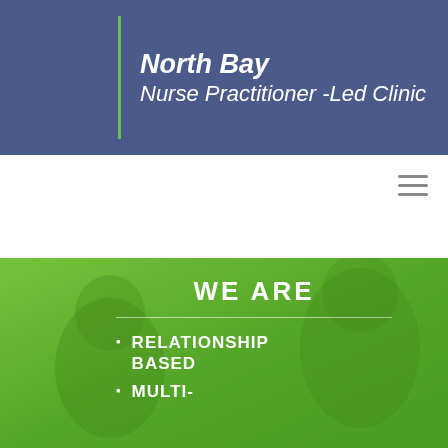North Bay Nurse Practitioner -Led Clinic
[Figure (screenshot): Hamburger menu icon with three horizontal lines]
[Figure (photo): Green-tinted photo of people in a medical clinic setting with overlay text]
WE ARE
RELATIONSHIP BASED
MULTI-